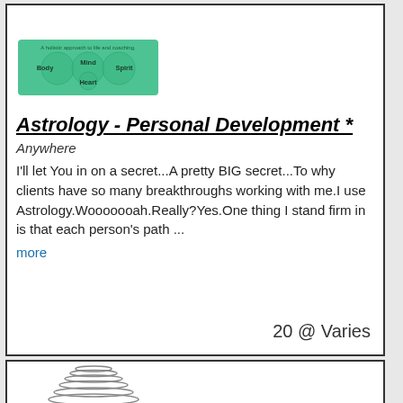[Figure (infographic): Green background graphic showing a Venn/holistic diagram with overlapping circles labeled Body, Mind, Spirit, Heart, and header text 'A holistic approach to life and coaching.']
Astrology - Personal Development *
Anywhere
I'll let You in on a secret...A pretty BIG secret...To why clients have so many breakthroughs working with me.I use Astrology.Wooooooah.Really?Yes.One thing I stand firm in is that each person's path ...
more
20 @ Varies
[Figure (photo): Partial image of stacked metallic bowls or rings at the bottom of the page.]